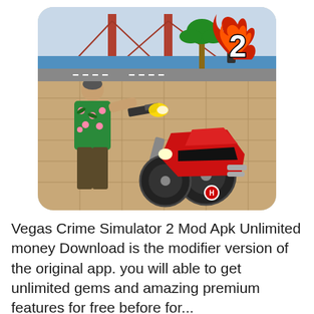[Figure (screenshot): Game screenshot of Vegas Crime Simulator 2 showing a character in a Hawaiian shirt holding a weapon shooting at a red motorcycle on a city street with a bridge in the background, and a flaming '2' logo in the upper right corner]
Vegas Crime Simulator 2 Mod Apk Unlimited money Download is the modifier version of the original app. you will able to get unlimited gems and amazing premium features for free before for... Which one do you t